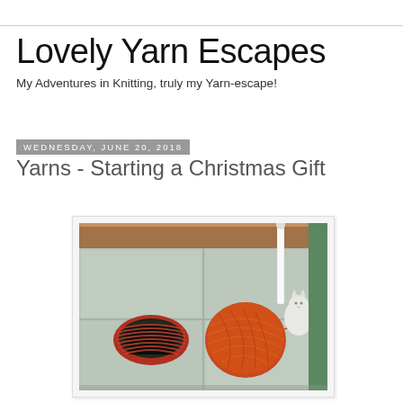Lovely Yarn Escapes
My Adventures in Knitting, truly my Yarn-escape!
Wednesday, June 20, 2018
Yarns - Starting a Christmas Gift
[Figure (photo): A photo of a red knitted piece (cuff/collar) and a red-orange yarn ball resting on a tiled table surface, with a white ceramic cat figurine and knitting needles visible in the background.]